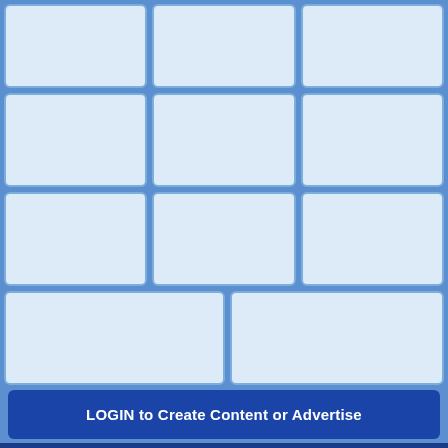[Figure (screenshot): 3x4 grid of empty blue-tinted content placeholder cards on a blue background]
LOGIN to Create Content or Advertise
Queensland-QLD
[Figure (other): Social media icons: Facebook, Twitter, LinkedIn, plus button]
Terms of use
Privacy Policy
About us